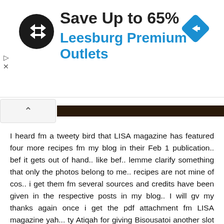[Figure (screenshot): Advertisement banner for Leesburg Premium Outlets showing 'Save Up to 65%' with a circular black logo with arrows and a blue diamond navigation icon]
I heard fm a tweety bird that LISA magazine has featured four more recipes fm my blog in their Feb 1 publication.. bef it gets out of hand.. like bef.. lemme clarify something that only the photos belong to me.. recipes are not mine of cos.. i get them fm several sources and credits have been given in the respective posts in my blog.. I will gv my thanks again once i get the pdf attachment fm LISA magazine yah... ty Atiqah for giving Bisousatoi another slot in this month's magazine!
Oh...and I hv read a very interesting article in regards to recipe copying from David Lebowitz...